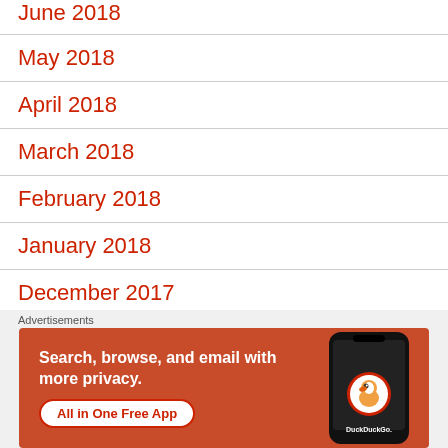June 2018
May 2018
April 2018
March 2018
February 2018
January 2018
December 2017
July 2017
[Figure (infographic): DuckDuckGo advertisement banner with orange background. Text reads: Search, browse, and email with more privacy. All in One Free App. Shows DuckDuckGo logo on a phone graphic.]